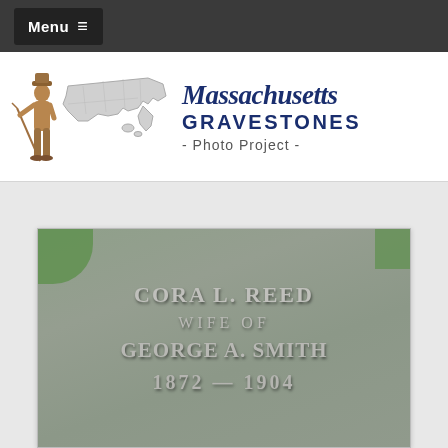Menu ≡
[Figure (logo): Massachusetts Gravestones Photo Project logo with a colonial minuteman soldier figure, a map of Massachusetts counties, and the text 'Massachusetts GRAVESTONES - Photo Project -' in navy blue serif and sans-serif fonts.]
[Figure (photo): Gravestone photograph showing engraved text: CORA L. REED, WIFE OF, GEORGE A. SMITH, 1872 — 1904. The stone is weathered gray granite with grass visible at the top edges.]